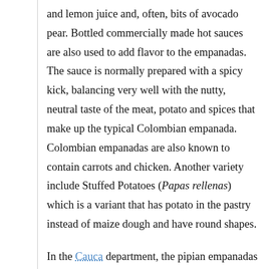and lemon juice and, often, bits of avocado pear. Bottled commercially made hot sauces are also used to add flavor to the empanadas. The sauce is normally prepared with a spicy kick, balancing very well with the nutty, neutral taste of the meat, potato and spices that make up the typical Colombian empanada. Colombian empanadas are also known to contain carrots and chicken. Another variety include Stuffed Potatoes (Papas rellenas) which is a variant that has potato in the pastry instead of maize dough and have round shapes.
In the Cauca department, the pipian empanadas are made with peanuts and a special type of potato called "Papa amarilla" due to its yellow color. In Colombia, empanadas can be easily found on street corners, as it is one of the most famous and